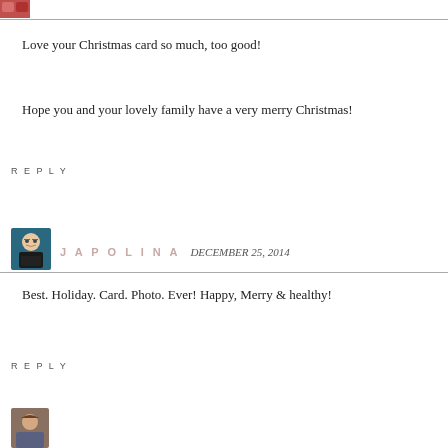[Figure (photo): Small avatar thumbnail in top-left corner, partially visible, reddish tones]
Love your Christmas card so much, too good!
Hope you and your lovely family have a very merry Christmas!
REPLY
[Figure (photo): Avatar of Japolina - illustrated character with glasses and dark hair]
JAPOLINA   DECEMBER 25, 2014
Best. Holiday. Card. Photo. Ever! Happy, Merry & healthy!
REPLY
[Figure (photo): Small avatar thumbnail at bottom-left, partially visible, warm tones]